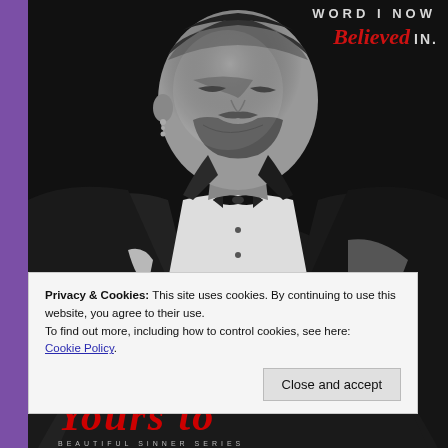[Figure (photo): Book cover image: black and white photo of a man in a tuxedo with bow tie, looking downward, with dark dramatic lighting. Purple vertical bar on left edge. Red cursive title text partially visible at bottom. Text at top reads 'WORD I NOW Believed IN.' Series label 'BEAUTIFUL SINNER SERIES' at bottom.]
Privacy & Cookies: This site uses cookies. By continuing to use this website, you agree to their use.
To find out more, including how to control cookies, see here:
Cookie Policy
Close and accept